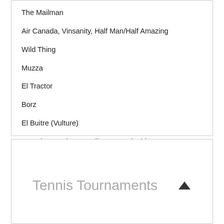The Mailman
Air Canada, Vinsanity, Half Man/Half Amazing
Wild Thing
Muzza
El Tractor
Borz
El Buitre (Vulture)
Braveheart, Rino, Snarling Dog, Ringhio
The Dagger, El Pistolero
Joe Cool, Joe Shiesty, Joey Franchise
Tennis Tournaments